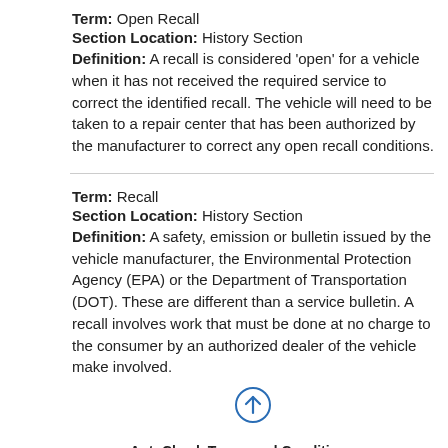Term: Open Recall
Section Location: History Section
Definition: A recall is considered 'open' for a vehicle when it has not received the required service to correct the identified recall. The vehicle will need to be taken to a repair center that has been authorized by the manufacturer to correct any open recall conditions.
Term: Recall
Section Location: History Section
Definition: A safety, emission or bulletin issued by the vehicle manufacturer, the Environmental Protection Agency (EPA) or the Department of Transportation (DOT). These are different than a service bulletin. A recall involves work that must be done at no charge to the consumer by an authorized dealer of the vehicle make involved.
[Figure (other): Up arrow icon inside a circle]
AutoCheck Terms and Conditions
This report, and any reliance upon it, is subject to AutoCheck Terms and Conditions. If you obtained the report from a lender/dealer, the lender/dealer has been provided with these